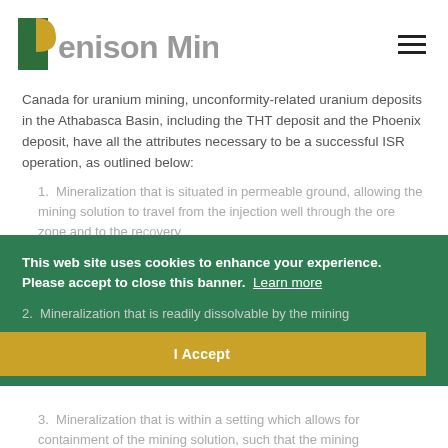Denison Mines
Canada for uranium mining, unconformity-related uranium deposits in the Athabasca Basin, including the THT deposit and the Phoenix deposit, have all the attributes necessary to be a successful ISR operation, as outlined below:
1. Mineralization that is situated in permeable ground, allowing the mining solution to travel from the injection well through the ore zone and to the recovery
2. Mineralization that is readily dissolvable by the mining
3. Mineralization that is within a setting which allows for containment of the mining solution, such that the mining
This web site uses cookies to enhance your experience. Please accept to close this banner. Learn more
I Accept